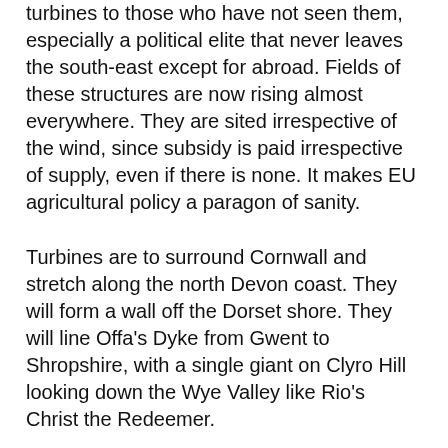turbines to those who have not seen them, especially a political elite that never leaves the south-east except for abroad. Fields of these structures are now rising almost everywhere. They are sited irrespective of the wind, since subsidy is paid irrespective of supply, even if there is none. It makes EU agricultural policy a paragon of sanity.
Turbines are to surround Cornwall and stretch along the north Devon coast. They will form a wall off the Dorset shore. They will line Offa's Dyke from Gwent to Shropshire, with a single giant on Clyro Hill looking down the Wye Valley like Rio's Christ the Redeemer.
...Scottish aristocrats have not seen such a turn in fortune since the Highland clearances.
Britain's landscape has never before been subject to such visual transformation. Human hands have always refashioned the country, urban and rural alike, but they have not industrialised its appearance on remotely this scale. Roads, railway lines, quarries, even towns and cities, are